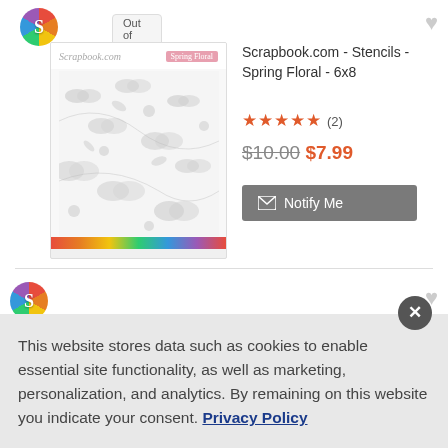[Figure (logo): Scrapbook.com colorful S logo]
Out of Stock
[Figure (photo): Scrapbook.com Stencil Spring Floral 6x8 product image with butterfly and floral pattern on grey/white background, rainbow bar at bottom]
Scrapbook.com - Stencils - Spring Floral - 6x8
★★★★★ (2)
$10.00 $7.99
✉ Notify Me
[Figure (logo): Scrapbook.com colorful S logo second product]
Scrapbook.com - Stencils -
This website stores data such as cookies to enable essential site functionality, as well as marketing, personalization, and analytics. By remaining on this website you indicate your consent. Privacy Policy